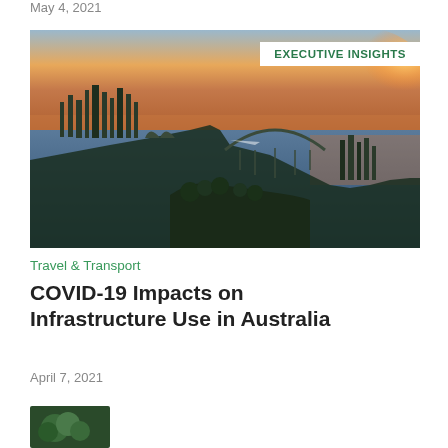May 4, 2021
[Figure (photo): Aerial sunset view of Sydney Harbour showing the Opera House, Harbour Bridge, and city skyline with golden orange sky]
EXECUTIVE INSIGHTS
Travel & Transport
COVID-19 Impacts on Infrastructure Use in Australia
April 7, 2021
[Figure (photo): Partial view of another article image at the bottom of the page]